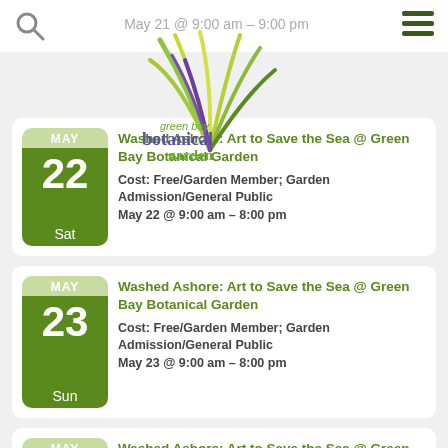May 21 @ 9:00 am – 9:00 pm
[Figure (logo): Green Bay Botanical Garden logo — colorful stylized plant fronds with text 'green bay botanical garden']
MAY 22 Sat — Washed Ashore: Art to Save the Sea @ Green Bay Botanical Garden
Cost: Free/Garden Member; Garden Admission/General Public
May 22 @ 9:00 am – 8:00 pm
MAY 23 Sun — Washed Ashore: Art to Save the Sea @ Green Bay Botanical Garden
Cost: Free/Garden Member; Garden Admission/General Public
May 23 @ 9:00 am – 8:00 pm
MAY 24 Mon — Washed Ashore: Art to Save the Sea @ Green Bay Botanical Garden
Cost: Free/Garden Member; Garden Admission/General Public
May 24 @ 9:00 am – 8:00 pm
[Figure (illustration): Green smiley face chatbot icon in bottom right corner]